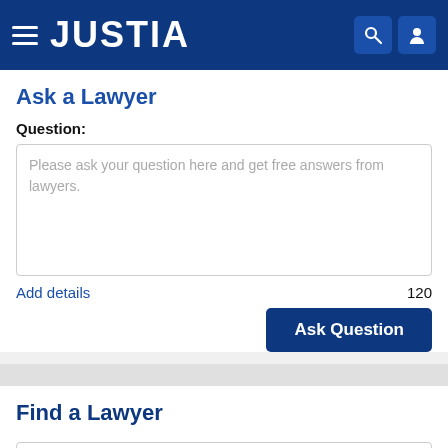JUSTIA
Ask a Lawyer
Question:
Please ask your question here and get free answers from lawyers.
Add details
120
Ask Question
Find a Lawyer
Patents
City, State
Search